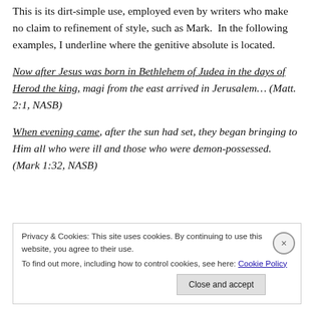This is its dirt-simple use, employed even by writers who make no claim to refinement of style, such as Mark. In the following examples, I underline where the genitive absolute is located.
Now after Jesus was born in Bethlehem of Judea in the days of Herod the king, magi from the east arrived in Jerusalem… (Matt. 2:1, NASB)
When evening came, after the sun had set, they began bringing to Him all who were ill and those who were demon-possessed.   (Mark 1:32, NASB)
Privacy & Cookies: This site uses cookies. By continuing to use this website, you agree to their use. To find out more, including how to control cookies, see here: Cookie Policy